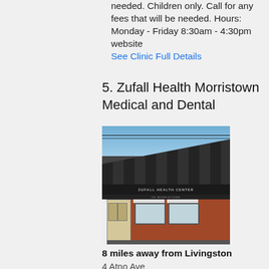needed. Children only. Call for any fees that will be needed. Hours: Monday - Friday 8:30am - 4:30pm website See Clinic Full Details
5. Zufall Health Morristown Medical and Dental
[Figure (photo): Exterior photo of Zufall Health Center of Morristown, a brick building with dark shingle roof and sign bar reading ZUFALL HEALTH CENTER OF MORRISTOWN]
8 miles away from Livingston
4 Atno Ave
Morristown, NJ - 07960
(973) 267-0002
Nearby Dental Clinic: 8 miles from